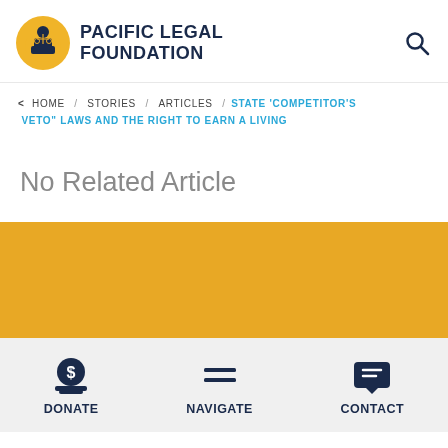PACIFIC LEGAL FOUNDATION
< HOME / STORIES / ARTICLES / STATE 'COMPETITOR'S VETO' LAWS AND THE RIGHT TO EARN A LIVING
No Related Article
[Figure (illustration): Gold/yellow horizontal band]
DONATE   NAVIGATE   CONTACT